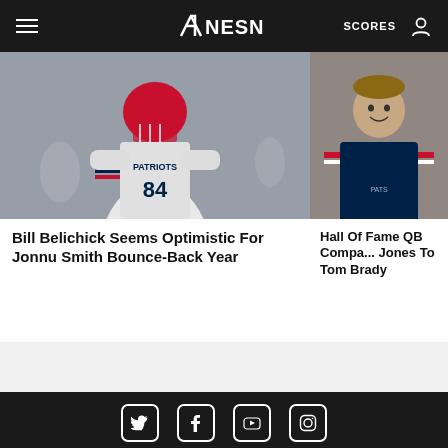NESN — SCORES
[Figure (photo): New England Patriots player in white uniform with red helmet, number 84]
[Figure (photo): New England Patriots quarterback in navy uniform smiling]
Bill Belichick Seems Optimistic For Jonnu Smith Bounce-Back Year
Hall Of Fame QB Compa... Jones To Tom Brady
© 2022 NESN Powered by WordPress.com VIP | About | MLB | NHL | NFL | NBA | Policies | FAQs | Advertise | Press | Contact | Careers